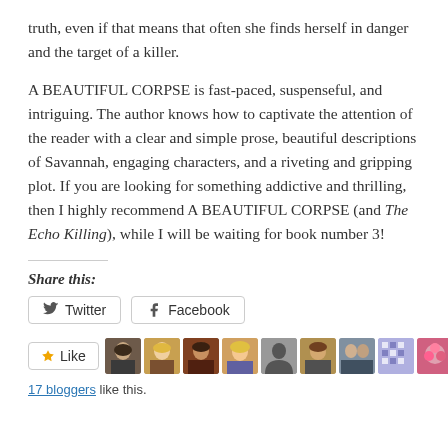truth, even if that means that often she finds herself in danger and the target of a killer.
A BEAUTIFUL CORPSE is fast-paced, suspenseful, and intriguing. The author knows how to captivate the attention of the reader with a clear and simple prose, beautiful descriptions of Savannah, engaging characters, and a riveting and gripping plot. If you are looking for something addictive and thrilling, then I highly recommend A BEAUTIFUL CORPSE (and The Echo Killing), while I will be waiting for book number 3!
Share this:
[Figure (screenshot): Social sharing buttons: Twitter and Facebook buttons side by side, then a Like button with 9 blogger avatar thumbnails, and '17 bloggers like this.' text below]